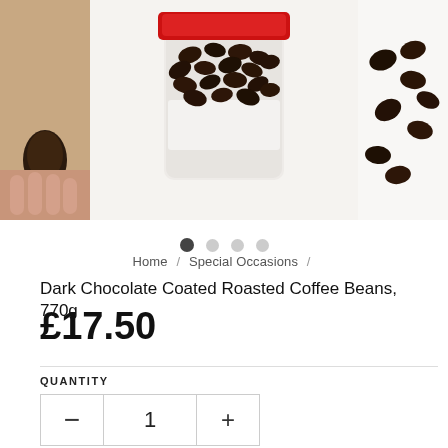[Figure (photo): Product image carousel showing dark chocolate coated coffee beans in a glass jar with red lid. Left panel shows hand holding a single chocolate bean, right panel shows scattered beans on white surface.]
Home / Special Occasions /
Dark Chocolate Coated Roasted Coffee Beans, 770g
£17.50
QUANTITY
1
IS THIS ITEM A GIFT?
ADD TO CART